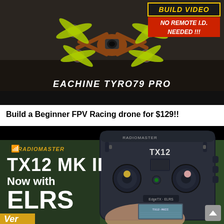[Figure (photo): Photo of Eachine Tyro79 Pro FPV racing drone with yellow propellers on dark ground. Top right overlay shows 'BUILD VIDEO' in yellow on dark background and 'NO REMOTE I.D. NEEDED!!!' in white on red background. Bottom center shows 'EACHINE TYRO79 PRO' in white italic text.]
Build a Beginner FPV Racing drone for $129!!
[Figure (photo): Photo of RadioMaster TX12 MK II radio controller with ELRS. Left side shows branding text: RadioMaster logo in gold, 'TX12 MK II' in large white text, 'Now with ELRS' in white text. Bottom left yellow triangle shows 'Ver'. Right side shows the physical TX12-MKII controller with EdgeTX-ELRS label. Scroll-to-top button bottom right.]